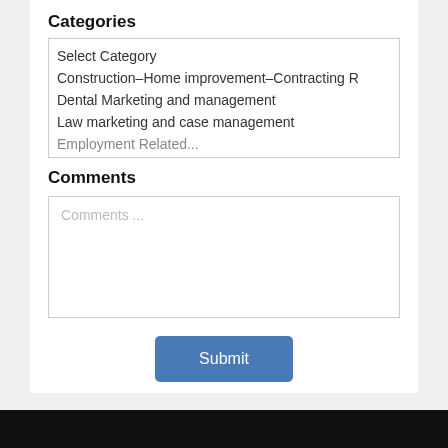Categories
Select Category
Construction–Home improvement–Contracting R
Dental Marketing and management
Law marketing and case management
Comments
Comments ...
Submit